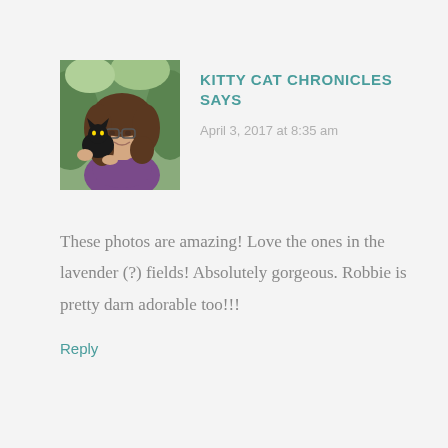[Figure (photo): Profile photo of a woman with curly hair and glasses holding a black cat outdoors]
KITTY CAT CHRONICLES SAYS
April 3, 2017 at 8:35 am
These photos are amazing! Love the ones in the lavender (?) fields! Absolutely gorgeous. Robbie is pretty darn adorable too!!!
Reply